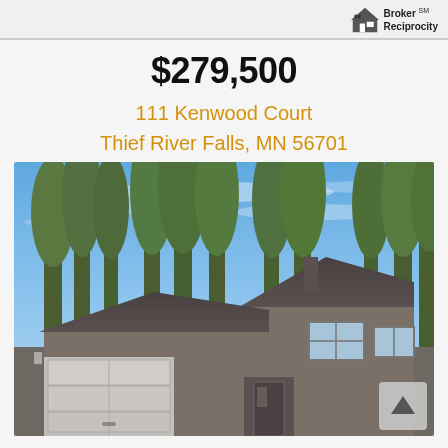[Figure (logo): Broker Reciprocity logo with house icon in top right corner]
$279,500
111 Kenwood Court
Thief River Falls, MN 56701
[Figure (photo): Exterior photo of a two-story residential home with attached garage, surrounded by tall trees, under a blue sky]